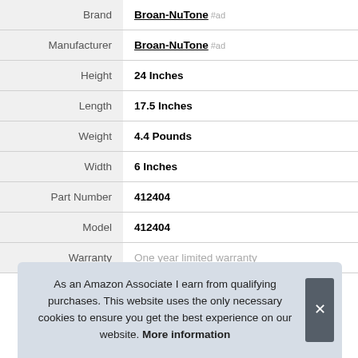| Attribute | Value |
| --- | --- |
| Brand | Broan-NuTone #ad |
| Manufacturer | Broan-NuTone #ad |
| Height | 24 Inches |
| Length | 17.5 Inches |
| Weight | 4.4 Pounds |
| Width | 6 Inches |
| Part Number | 412404 |
| Model | 412404 |
| Warranty | One year limited warranty |
As an Amazon Associate I earn from qualifying purchases. This website uses the only necessary cookies to ensure you get the best experience on our website. More information